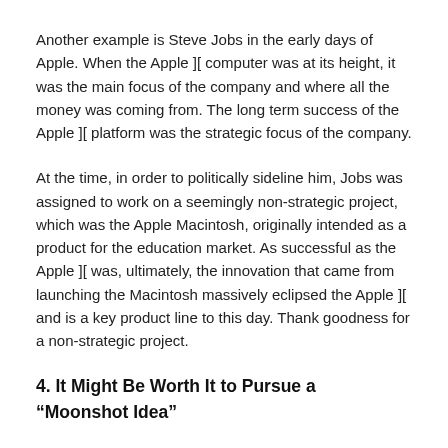Another example is Steve Jobs in the early days of Apple. When the Apple ][ computer was at its height, it was the main focus of the company and where all the money was coming from. The long term success of the Apple ][ platform was the strategic focus of the company.
At the time, in order to politically sideline him, Jobs was assigned to work on a seemingly non-strategic project, which was the Apple Macintosh, originally intended as a product for the education market. As successful as the Apple ][ was, ultimately, the innovation that came from launching the Macintosh massively eclipsed the Apple ][ and is a key product line to this day. Thank goodness for a non-strategic project.
4. It Might Be Worth It to Pursue a “Moonshot Idea”